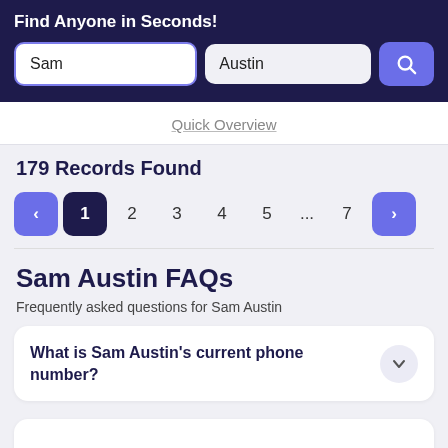Find Anyone in Seconds!
Sam
Austin
Quick Overview
179 Records Found
< 1 2 3 4 5 ... 7 >
Sam Austin FAQs
Frequently asked questions for Sam Austin
What is Sam Austin's current phone number?